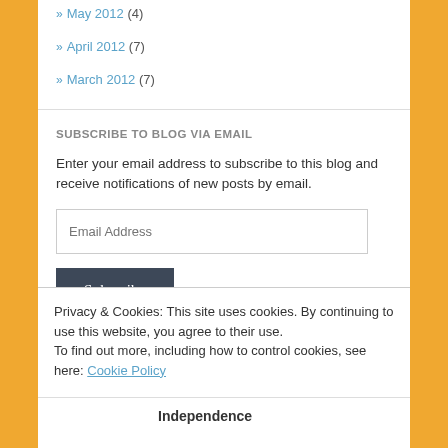» May 2012 (4)
» April 2012 (7)
» March 2012 (7)
SUBSCRIBE TO BLOG VIA EMAIL
Enter your email address to subscribe to this blog and receive notifications of new posts by email.
Email Address
Subscribe
Privacy & Cookies: This site uses cookies. By continuing to use this website, you agree to their use.
To find out more, including how to control cookies, see here: Cookie Policy
Close and accept
Independence